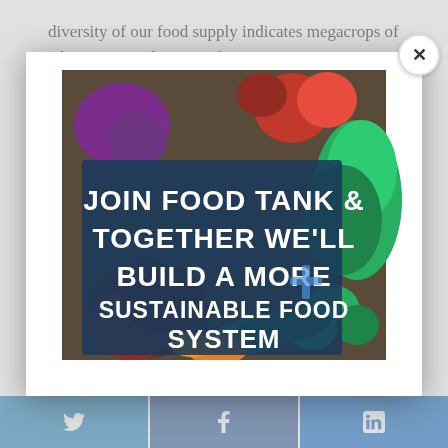diversity of our food supply indicates megacrops of wheat, rice, and maize, plus dm oil ... the same ... and local ... — or ...
Some ... g agr... pro... eno... whe... ne bill... and ... — are ...
[Figure (illustration): Modal popup over blurred article text showing food vegetables image with overlay text: JOIN FOOD TANK & TOGETHER WE'LL BUILD A MORE SUSTAINABLE FOOD SYSTEM. A close button (×) appears in the top-right corner. Three social share buttons (Twitter, Facebook, LinkedIn) appear at the bottom of the page.]
Share buttons: Twitter, Facebook, LinkedIn